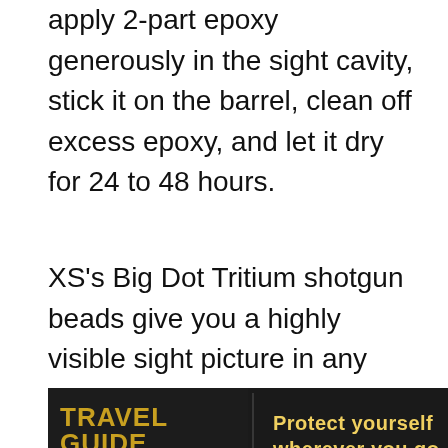apply 2-part epoxy generously in the sight cavity, stick it on the barrel, clean off excess epoxy, and let it dry for 24 to 48 hours.
XS's Big Dot Tritium shotgun beads give you a highly visible sight picture in any lighting condition. It's a great, low cost way to upgrade your defensive shotgun and be ready for any situation. All XS products are made in Texas and
[Figure (photo): Advertisement banner for 'Travel Guide for Gun Owners' featuring US LawShield with text 'Protect yourself wherever you go.' and forward arrow graphics, dark background with orange and gold accents.]
sk